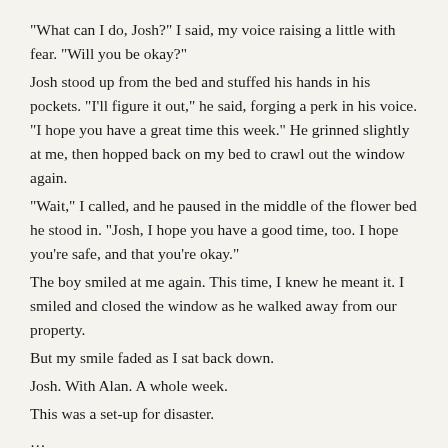“What can I do, Josh?” I said, my voice raising a little with fear. “Will you be okay?”
Josh stood up from the bed and stuffed his hands in his pockets. “I’ll figure it out,” he said, forging a perk in his voice. “I hope you have a great time this week.” He grinned slightly at me, then hopped back on my bed to crawl out the window again.
“Wait,” I called, and he paused in the middle of the flower bed he stood in. “Josh, I hope you have a good time, too. I hope you're safe, and that you're okay.”
The boy smiled at me again. This time, I knew he meant it. I smiled and closed the window as he walked away from our property.
But my smile faded as I sat back down.
Josh. With Alan. A whole week.
This was a set-up for disaster.
…
I wished I had a way to contact Josh.
I already missed him, and it was only half an hour after he left. I already felt concern and fear, but also my confusion and reserve towards the situation. I felt sorry for my attempts to make him feel better. I shouldn't have said anything; I really knew nothing about what he needed, and so it was stupid of me to think it would help.